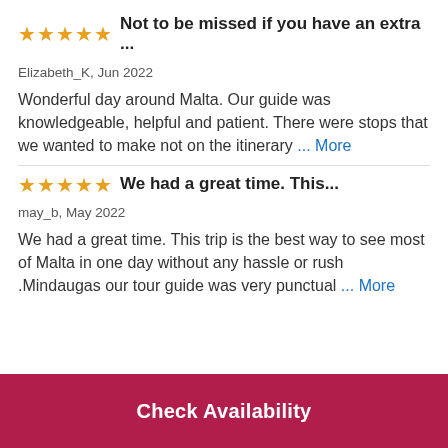Not to be missed if you have an extra ...
Elizabeth_K, Jun 2022
Wonderful day around Malta. Our guide was knowledgeable, helpful and patient. There were stops that we wanted to make not on the itinerary … More
We had a great time. This...
may_b, May 2022
We had a great time. This trip is the best way to see most of Malta in one day without any hassle or rush .Mindaugas our tour guide was very punctual … More
Check Availability